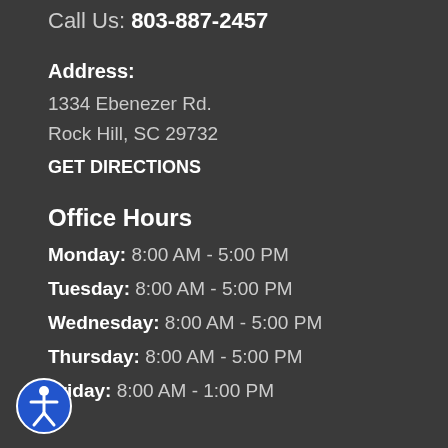Call Us: 803-887-2457
Address:
1334 Ebenezer Rd.
Rock Hill, SC 29732
GET DIRECTIONS
Office Hours
Monday: 8:00 AM - 5:00 PM
Tuesday: 8:00 AM - 5:00 PM
Wednesday: 8:00 AM - 5:00 PM
Thursday: 8:00 AM - 5:00 PM
Friday: 8:00 AM - 1:00 PM